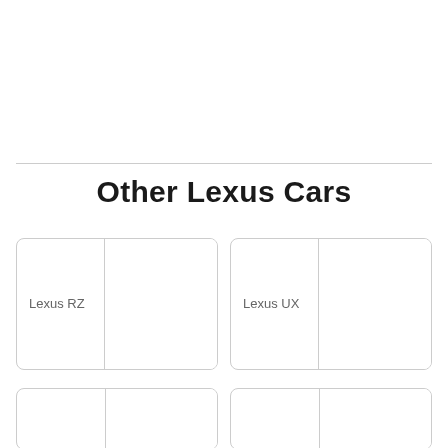Other Lexus Cars
| Lexus RZ |  |
| Lexus UX |  |
|  |  |
|  |  |